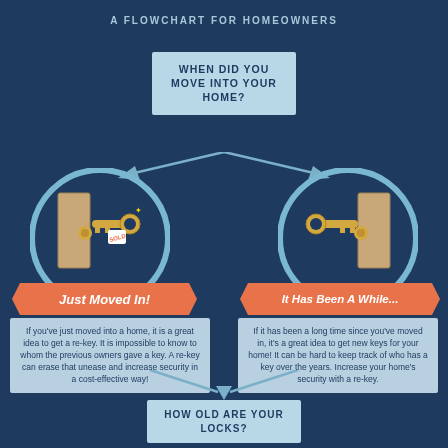A FLOWCHART FOR HOMEOWNERS
[Figure (flowchart): A flowchart for homeowners about when to re-key their home. Starts with question 'When did you move into your home?' branching to two options: 'Just Moved In!' and 'It Has Been A While...', each with explanatory text boxes, then converging to 'How old are your locks?' at the bottom.]
If you've just moved into a home, it is a great idea to get a re-key. It is impossible to know to whom the previous owners gave a key. A re-key can erase that unease and increase security in a cost-effective way!
If it has been a long time since you've moved in, it's a great idea to get new keys for your home! It can be hard to keep track of who has a key over the years. Increase your home's security with a re-key.